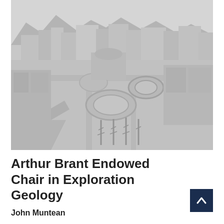[Figure (photo): Aerial black-and-white photograph of a university campus with circular plazas, trees, buildings, and mountains in the background.]
Arthur Brant Endowed Chair in Exploration Geology
John Muntean